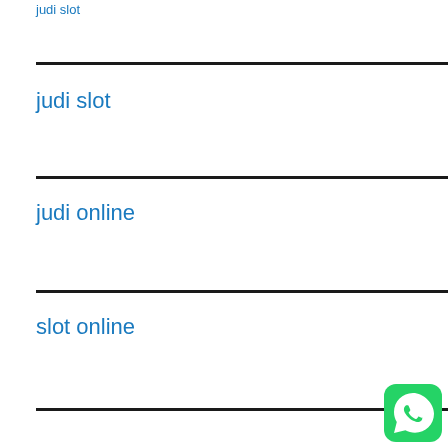judi slot (link at top)
judi slot
judi online
slot online
[Figure (logo): WhatsApp logo icon — green rounded square with white phone/speech bubble icon]